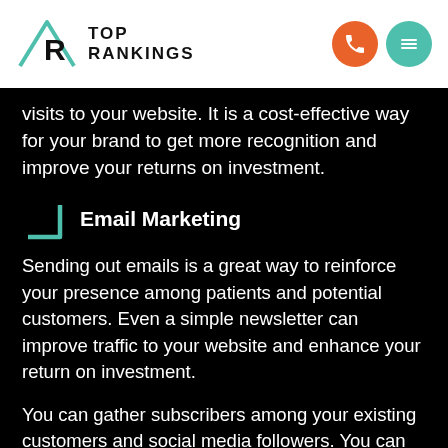[Figure (logo): Top Rankings logo with geometric triangle/arrow icon and text TOP RANKINGS]
visits to your website. It is a cost-effective way for your brand to get more recognition and improve your returns on investment.
Email Marketing
Sending out emails is a great way to reinforce your presence among patients and potential customers. Even a simple newsletter can improve traffic to your website and enhance your return on investment.
You can gather subscribers among your existing customers and social media followers. You can also opt for a personalised approach by